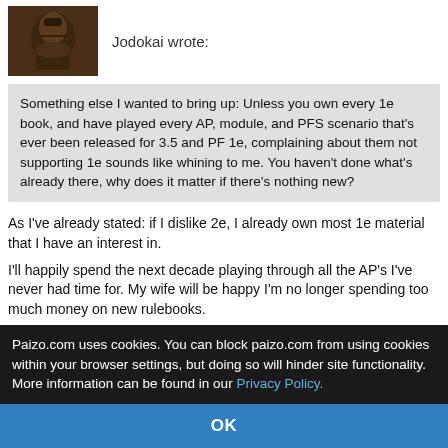Jodokai wrote:
Something else I wanted to bring up: Unless you own every 1e book, and have played every AP, module, and PFS scenario that's ever been released for 3.5 and PF 1e, complaining about them not supporting 1e sounds like whining to me. You haven't done what's already there, why does it matter if there's nothing new?
As I've already stated: if I dislike 2e, I already own most 1e material that I have an interest in.
I'll happily spend the next decade playing through all the AP's I've never had time for. My wife will be happy I'm no longer spending too much money on new rulebooks.
If I enjoy 2e, I'll purchase and use it.
That's too reasonable. This is the Internet. You have to choose: irrationally hate it or irrationally love it,
Paizo.com uses cookies. You can block paizo.com from using cookies within your browser settings, but doing so will hinder site functionality. More information can be found in our Privacy Policy.
OK